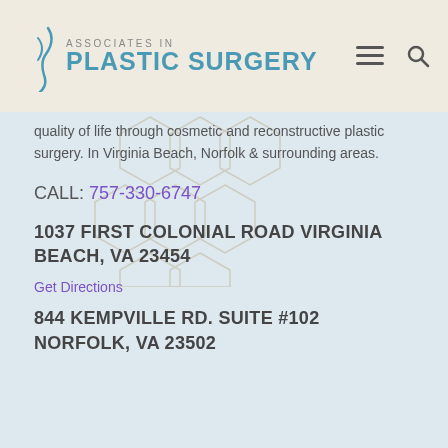Associates in Plastic Surgery
quality of life through cosmetic and reconstructive plastic surgery. In Virginia Beach, Norfolk & surrounding areas.
CALL: 757-330-6747
1037 FIRST COLONIAL ROAD VIRGINIA BEACH, VA 23454
Get Directions
844 KEMPVILLE RD. SUITE #102 NORFOLK, VA 23502